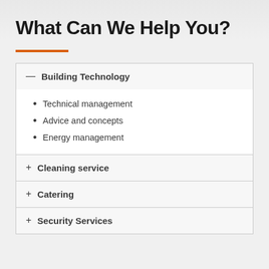What Can We Help You?
Building Technology
Technical management
Advice and concepts
Energy management
Cleaning service
Catering
Security Services